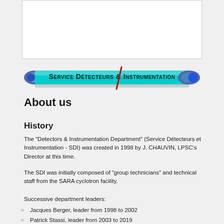[Figure (illustration): White rectangular box, upper area of page, appears to be a placeholder image or empty content area]
[Figure (logo): Cylindrical banner in teal/cyan color reading 'Service Détecteurs & Instrumentation' with a red diagonal slash mark, metallic end caps on both sides]
About us
History
The "Detectors & Instrumentation Department" (Service Détecteurs et Instrumentation - SDI) was created in 1998 by J. CHAUVIN, LPSC's Director at this time.
The SDI was initially composed of "group technicians" and technical staff from the SARA cyclotron facility.
Successive department leaders:
Jacques Berger, leader from 1998 to 2002
Patrick Stassi, leader from 2003 to 2019